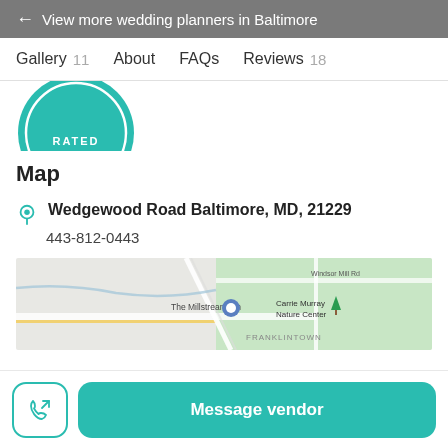← View more wedding planners in Baltimore
Gallery 11   About   FAQs   Reviews 18
[Figure (logo): Partial teal circular badge with text 'RATED']
Map
Wedgewood Road Baltimore, MD, 21229
443-812-0443
[Figure (map): Google Maps screenshot showing The Millstream Inn location near Franklintown, with Carrie Murray Nature Center visible]
Message vendor